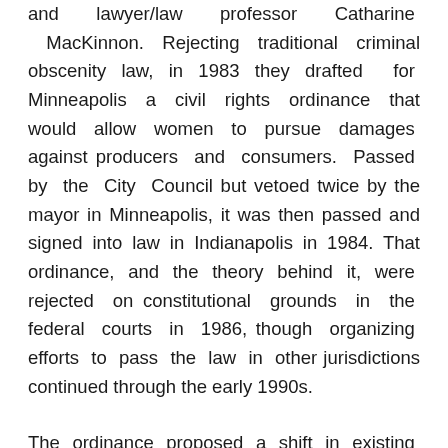and lawyer/law professor Catharine MacKinnon. Rejecting traditional criminal obscenity law, in 1983 they drafted for Minneapolis a civil rights ordinance that would allow women to pursue damages against producers and consumers. Passed by the City Council but vetoed twice by the mayor in Minneapolis, it was then passed and signed into law in Indianapolis in 1984. That ordinance, and the theory behind it, were rejected on constitutional grounds in the federal courts in 1986, though organizing efforts to pass the law in other jurisdictions continued through the early 1990s.
The ordinance proposed a shift in existing law, away from a moral framework about what kind of sex is consistent with the dominant sexual mores and toward a political one, focused on patriarchal power. Rooting the move in the radical feminist argument that women are oppressed in part through sexual subordination, Dworkin